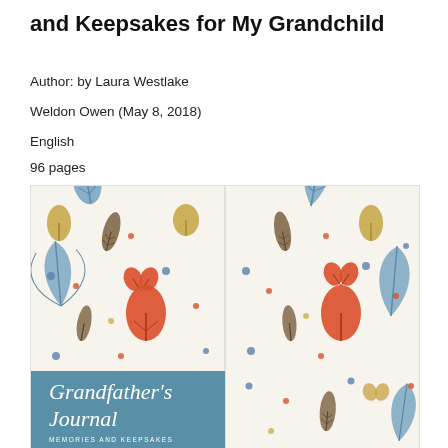and Keepsakes for My Grandchild
Author: by Laura Westlake
Weldon Owen (May 8, 2018)
English
96 pages
[Figure (photo): Book cover of Grandfather's Journal: Memories and Keepsakes for My Grandchild, showing colorful autumn leaves (blue maple, orange, golden oak, brown pine, red ginkgo) on a cream background, with a teal/blue lower panel displaying the title text in white serif font.]